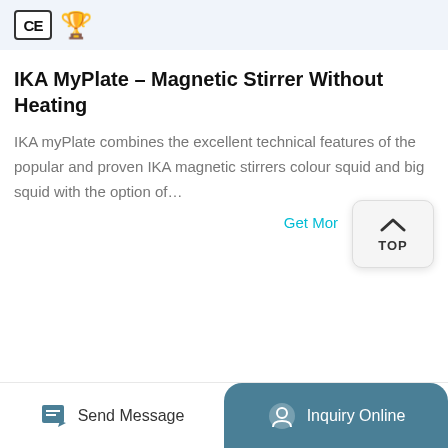[Figure (logo): CE certification badge and gold supplier badge icons in a light blue banner]
IKA MyPlate - Magnetic Stirrer Without Heating
IKA myPlate combines the excellent technical features of the popular and proven IKA magnetic stirrers colour squid and big squid with the option of…
Get More
[Figure (other): TOP scroll-to-top button with upward chevron arrow]
Send Message | Inquiry Online